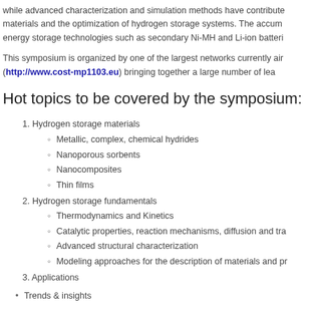while advanced characterization and simulation methods have contribute materials and the optimization of hydrogen storage systems. The accum energy storage technologies such as secondary Ni-MH and Li-ion batteri
This symposium is organized by one of the largest networks currently air (http://www.cost-mp1103.eu) bringing together a large number of lea
Hot topics to be covered by the symposium:
1. Hydrogen storage materials
Metallic, complex, chemical hydrides
Nanoporous sorbents
Nanocomposites
Thin films
2. Hydrogen storage fundamentals
Thermodynamics and Kinetics
Catalytic properties, reaction mechanisms, diffusion and tra
Advanced structural characterization
Modeling approaches for the description of materials and pr
3. Applications
Trends & insights